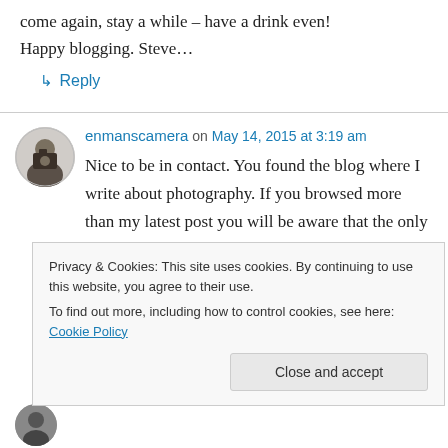come again, stay a while – have a drink even! Happy blogging. Steve…
↳ Reply
enmanscamera on May 14, 2015 at 3:19 am
Nice to be in contact. You found the blog where I write about photography. If you browsed more than my latest post you will be aware that the only topic I ever discuss is photography. Now that I know about you I will take the time to
Privacy & Cookies: This site uses cookies. By continuing to use this website, you agree to their use. To find out more, including how to control cookies, see here: Cookie Policy
Close and accept